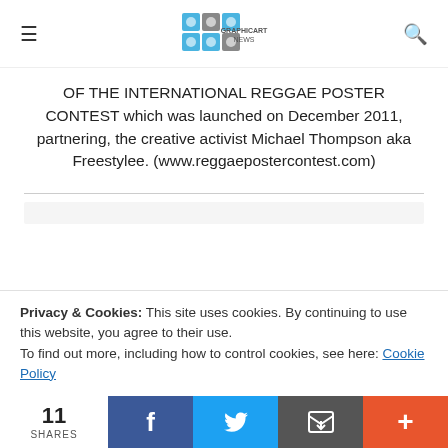GRAPHICART NEWS
OF THE INTERNATIONAL REGGAE POSTER CONTEST which was launched on December 2011, partnering, the creative activist Michael Thompson aka Freestylee. (www.reggaepostercontest.com)
Privacy & Cookies: This site uses cookies. By continuing to use this website, you agree to their use.
To find out more, including how to control cookies, see here: Cookie Policy
11 SHARES